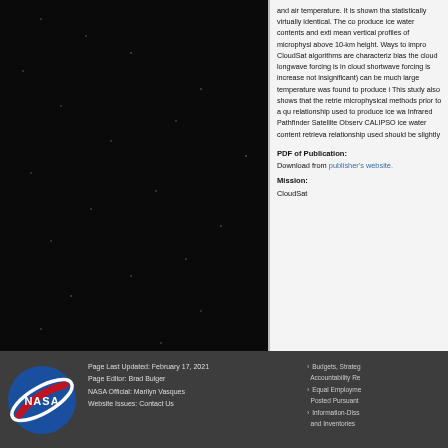[Figure (photo): Dark starfield background on left two-thirds of page]
and air temperature. It is shown that statistically virtually identical. The co produce ice water contents and exti mean vertical profiles of microphysi above 10-km height. Ways to impro CloudSat algorithms are characteri bias the cloud longwave forcing is i cloud shortwave forcing is increase not insignificant) can be much large temperature was found to produce i This study also shows that the retrie microphysical methods prior to a qu relationship used to produce ice wa Infrared Pathfinder Satellite Obser CALIPSO ice water content retrieva relationship used should be slightly
PDF of Publication:
Download from publisher's website.
Mission:
CloudSat
Page Last Updated: February 17, 2021
Page Editor: Brad Bulger
NASA Official: Marilyn Vasques
Website Issues: Contact Us
› Budgets, Strate Accountability Re › Equal Employme Posted Pursuant › Information-Diss and Inventories